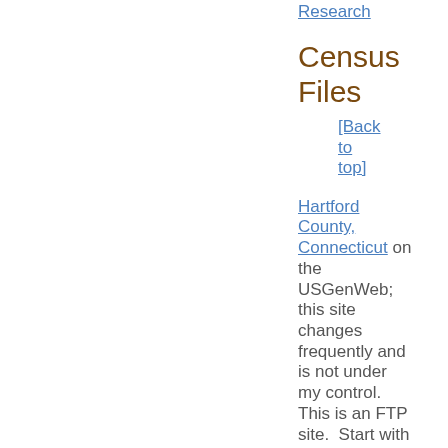Research
Census Files
[Back to top]
Hartford County, Connecticut on the USGenWeb; this site changes frequently and is not under my control. This is an FTP site. Start with the "indx" files at the end to find the surname you